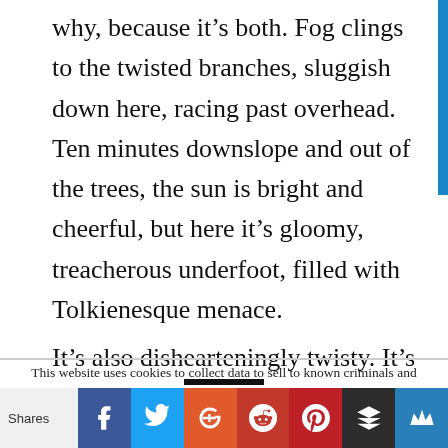why, because it’s both. Fog clings to the twisted branches, sluggish down here, racing past overhead. Ten minutes downslope and out of the trees, the sun is bright and cheerful, but here it’s gloomy, treacherous underfoot, filled with Tolkienesque menace.

It’s also dishearteningly twisty. It’s hard
This website uses cookies to collect data to sell to known criminals and brands you really hate. No, not really. No designs on your data. I’m just a bloke with a blog who can barely tie his own shoelaces. Hope
Shares | Facebook | Twitter | Google+ | Reddit | Pinterest | Buffer | Crown